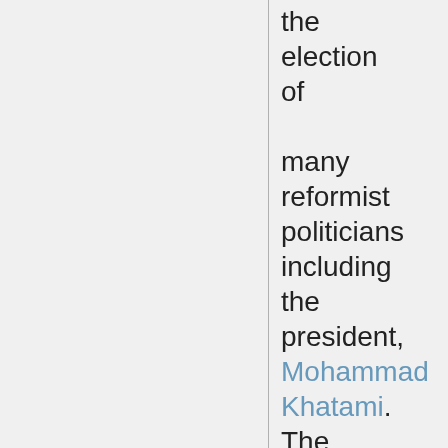the election of many reformist politicians including the president, Mohammad Khatami. The struggle between reformists